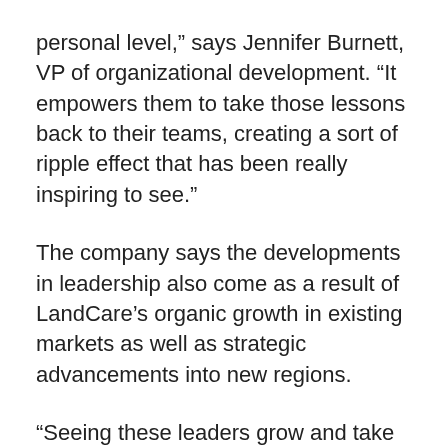personal level,” says Jennifer Burnett, VP of organizational development. “It empowers them to take those lessons back to their teams, creating a sort of ripple effect that has been really inspiring to see.”
The company says the developments in leadership also come as a result of LandCare’s organic growth in existing markets as well as strategic advancements into new regions.
“Seeing these leaders grow and take on new challenges is incredibly rewarding, particularly because most have been with us since the very beginning,” says Mike Bogan, CEO of LandCare. “We have so much talent within our teams, and LandCare’s growth presents new and exciting opportunities to these budding leaders.”